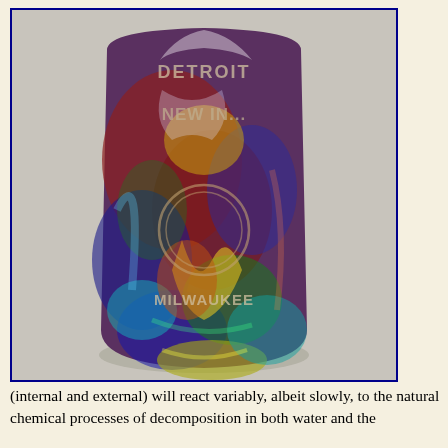[Figure (photo): A glass bottle with iridescent rainbow coloring (decomposition/patina) showing embossed text including 'NEW IN...' and 'MILWAUKEES' or similar, photographed against a light gray background.]
(internal and external) will react variably, albeit slowly, to the natural chemical processes of decomposition in both water and the